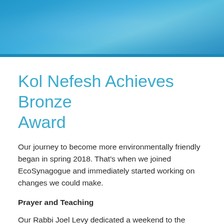[Figure (photo): Blue banner header image with water/environmental texture in shades of blue]
Kol Nefesh Achieves Bronze Award
Our journey to become more environmentally friendly began in spring 2018. That's when we joined EcoSynagogue and immediately started working on changes we could make.
Prayer and Teaching
Our Rabbi Joel Levy dedicated a weekend to the notion of Ba'al Tashchit – do not destroy – the commandment not to destroy or waste items from the natural world.